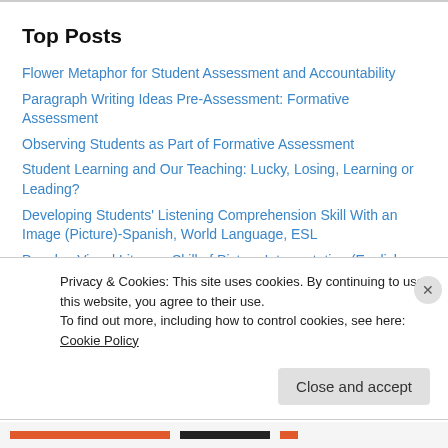Top Posts
Flower Metaphor for Student Assessment and Accountability
Paragraph Writing Ideas Pre-Assessment: Formative Assessment
Observing Students as Part of Formative Assessment
Student Learning and Our Teaching: Lucky, Losing, Learning or Leading?
Developing Students' Listening Comprehension Skill With an Image (Picture)-Spanish, World Language, ESL
Develop Visual Literacy Skill of Picture Interpretation (English example)
Using a Pre-assessment as Formative Assessment
Using Modern Language (FL) Apps Even When ...
Privacy & Cookies: This site uses cookies. By continuing to use this website, you agree to their use.
To find out more, including how to control cookies, see here: Cookie Policy
Close and accept